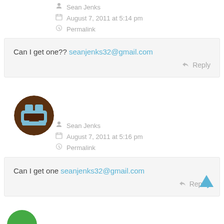Sean Jenks
August 7, 2011 at 5:14 pm
Permalink
Can I get one?? seanjenks32@gmail.com
Reply
[Figure (illustration): Avatar icon: brown circle with abstract game-controller style icon in light blue and dark brown]
Sean Jenks
August 7, 2011 at 5:16 pm
Permalink
Can I get one seanjenks32@gmail.com
Reply